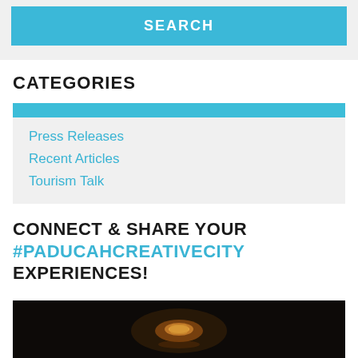[Figure (screenshot): Blue SEARCH button on light gray background]
CATEGORIES
Press Releases
Recent Articles
Tourism Talk
CONNECT & SHARE YOUR #PADUCAHCREATIVECITY EXPERIENCES!
[Figure (photo): Dark photograph of a glowing golden ring or circular object on a dark reflective surface]